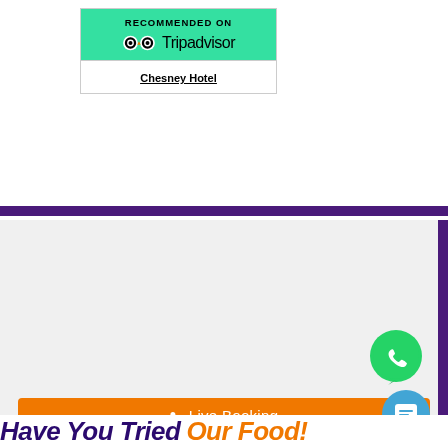[Figure (logo): TripAdvisor 'Recommended On' widget badge showing green header with owl logo and Tripadvisor text, white bottom section with 'Chesney Hotel' underlined]
• Live Booking
Have You Tried Our Food!